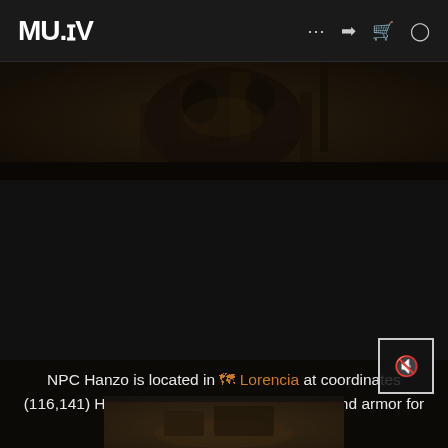MU.IV
[Figure (photo): Dark fantasy scene with blacksmith/NPC character in a shadowy environment]
NPC Hanzo is located in 🗺 Lorencia at coordinates (116,141) Hanzo, the Blacksmith, sells arms and armor for knights.
Well, here are some suggestions for you if you're interested to make a . First, go to Hanzo the Blacksmith.
[Figure (photo): Bottom image showing items or equipment in a game scene]